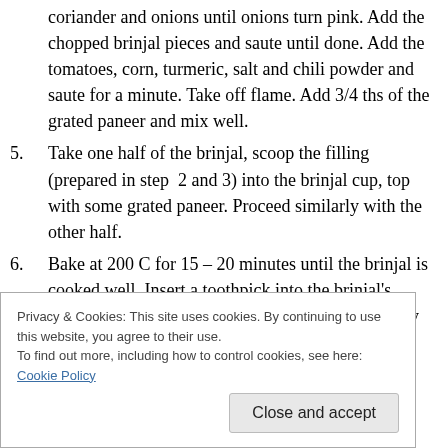coriander and onions until onions turn pink. Add the chopped brinjal pieces and saute until done. Add the tomatoes, corn, turmeric, salt and chili powder and saute for a minute. Take off flame. Add 3/4 ths of the grated paneer and mix well.
5. Take one half of the brinjal, scoop the filling (prepared in step 2 and 3) into the brinjal cup, top with some grated paneer. Proceed similarly with the other half.
6. Bake at 200 C for 15 – 20 minutes until the brinjal is cooked well. Insert a toothpick into the brinjal's flesh to check if it has turned soft and is thoroughly cooked.
Privacy & Cookies: This site uses cookies. By continuing to use this website, you agree to their use.
To find out more, including how to control cookies, see here: Cookie Policy
Close and accept